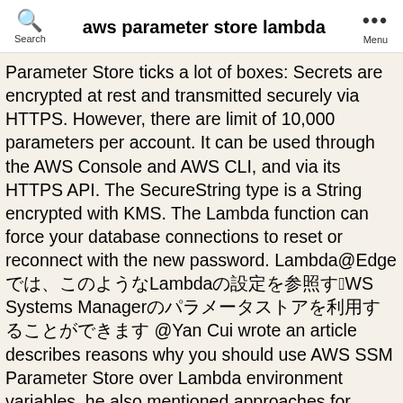aws parameter store lambda
Parameter Store ticks a lot of boxes: Secrets are encrypted at rest and transmitted securely via HTTPS. However, there are limit of 10,000 parameters per account. It can be used through the AWS Console and AWS CLI, and via its HTTPS API. The SecureString type is a String encrypted with KMS. The Lambda function can force your database connections to reset or reconnect with the new password. Lambda@Edgeでは、このようなLambdaの設定を参照するAWS Systems Managerのパラメータストアを利用することができます @Yan Cui wrote an article describes reasons why you should use AWS SSM Parameter Store over Lambda environment variables, he also mentioned approaches for caching and cache expiration using his custom client library. Using AWS Parameter Store an admin can securely store the password and not have to give it out to the developers. AWS Products & Solutions. Amazon.Extensions.Configuration.SystemsManager. The